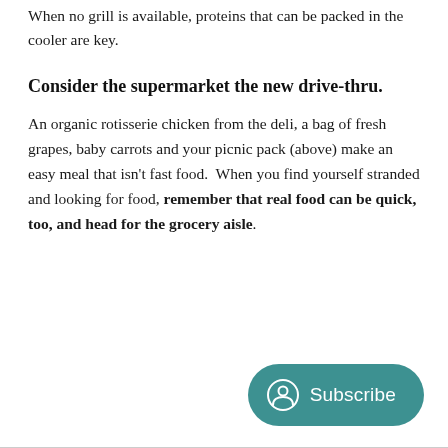When no grill is available, proteins that can be packed in the cooler are key.
Consider the supermarket the new drive-thru.
An organic rotisserie chicken from the deli, a bag of fresh grapes, baby carrots and your picnic pack (above) make an easy meal that isn't fast food.  When you find yourself stranded and looking for food, remember that real food can be quick, too, and head for the grocery aisle.